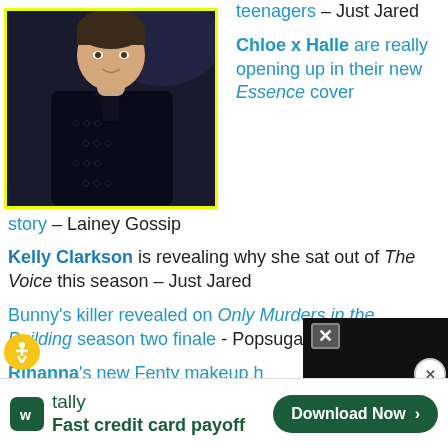[Figure (photo): Young man in dark patterned blazer and black shirt, photographed at an event, with yellow border]
teenagers – Just Jared
Chloe x Halle are really opening up in their new Essence cover story – Lainey Gossip
Kelly Clarkson is revealing why she sat out of The Voice this season – Just Jared
Bunny's killer revealed on Only Murders in the Building season two finale - Popsugar
Rihanna's new Fenty makeup h...
[Figure (screenshot): Black overlay popup with X close button]
[Figure (logo): Tally app advertisement: green Tally logo, Fast credit card payoff, Download Now button]